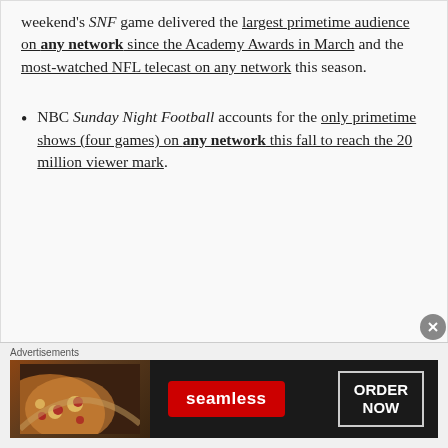weekend's SNF game delivered the largest primetime audience on any network since the Academy Awards in March and the most-watched NFL telecast on any network this season.
NBC Sunday Night Football accounts for the only primetime shows (four games) on any network this fall to reach the 20 million viewer mark.
[Figure (other): Seamless food ordering advertisement banner with pizza image on left, Seamless logo in red, and ORDER NOW button on right]